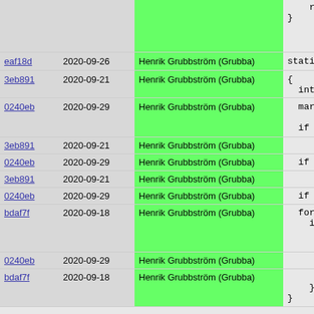| hash | date | author | code |
| --- | --- | --- | --- |
|  |  |  |     return 0;
} |
| eaf18d | 2020-09-26 | Henrik Grubbström (Grubba) | static int m |
| 3eb891 | 2020-09-21 | Henrik Grubbström (Grubba) | {
    int ret; |
| 0240eb | 2020-09-29 | Henrik Grubbström (Grubba) |     marker = m

    if (!remap |
| 3eb891 | 2020-09-21 | Henrik Grubbström (Grubba) |  |
| 0240eb | 2020-09-29 | Henrik Grubbström (Grubba) |     if (flags |
| 3eb891 | 2020-09-21 | Henrik Grubbström (Grubba) |  |
| 0240eb | 2020-09-29 | Henrik Grubbström (Grubba) |     if ((ret = |
| bdaf7f | 2020-09-18 | Henrik Grubbström (Grubba) |     for (ret =
      if (!(re
        remap-
        ret |= |
| 0240eb | 2020-09-29 | Henrik Grubbström (Grubba) |         remap- |
| bdaf7f | 2020-09-18 | Henrik Grubbström (Grubba) |         return
    }
} |